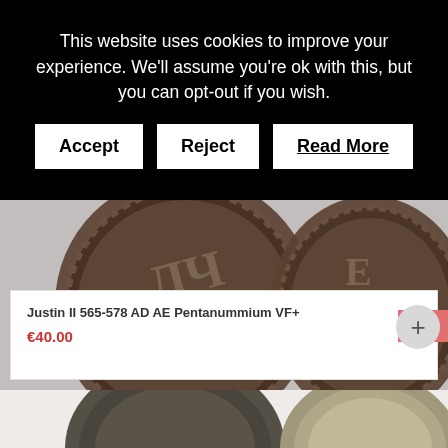This website uses cookies to improve your experience. We'll assume you're ok with this, but you can opt-out if you wish.
Accept
Reject
Read More
[Figure (photo): Two ancient bronze coins (obverse and reverse) from Byzantine era, dark patina with inscriptions]
Justin II 565-578 AD AE Pentanummium VF+
€40.00
[Figure (photo): Two ancient bronze coins from Byzantine era, heavily worn with dark patina]